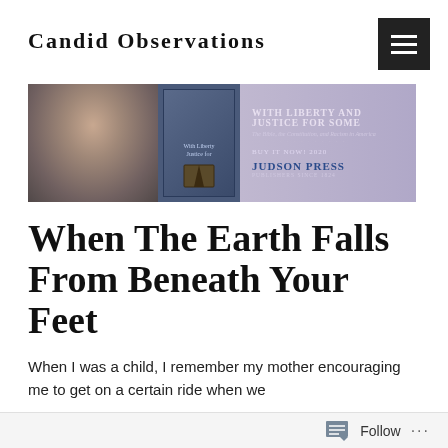Candid Observations
[Figure (photo): Banner advertisement for 'With Liberty and Justice for Some' book, showing author photo, book cover, and Judson Press logo]
When The Earth Falls From Beneath Your Feet
When I was a child, I remember my mother encouraging me to get on a certain ride when we
Follow